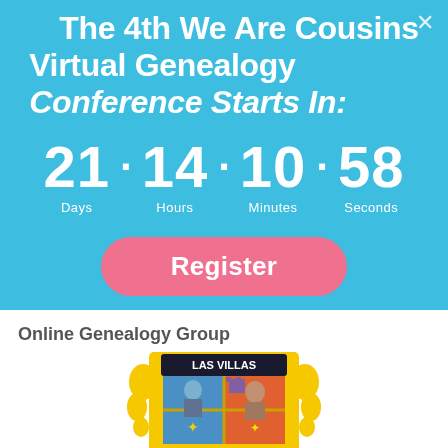The 4th We Are Cousins Virtual Genealogy Conference Starts In:
21 · 14 · 10 · 58
Days   Hours   Minutes   Seconds
Register
Online Genealogy Group
[Figure (logo): Las Villas del Norte coat of arms / crest with yellow border, blue and orange quartered shield with figures and text 'LAS VILLAS']